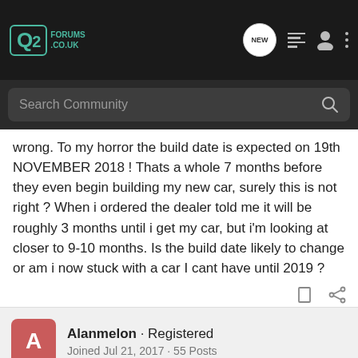[Figure (screenshot): Q2Forums.co.uk navigation bar with logo, NEW chat icon, list icon, user icon, and three-dot menu]
[Figure (screenshot): Search Community search bar on dark background]
wrong. To my horror the build date is expected on 19th NOVEMBER 2018 ! Thats a whole 7 months before they even begin building my new car, surely this is not right ? When i ordered the dealer told me it will be roughly 3 months until i get my car, but i'm looking at closer to 9-10 months. Is the build date likely to change or am i now stuck with a car I cant have until 2019 ?
Alanmelon · Registered
Joined Jul 21, 2017 · 55 Posts
#2 · May 22, 2018